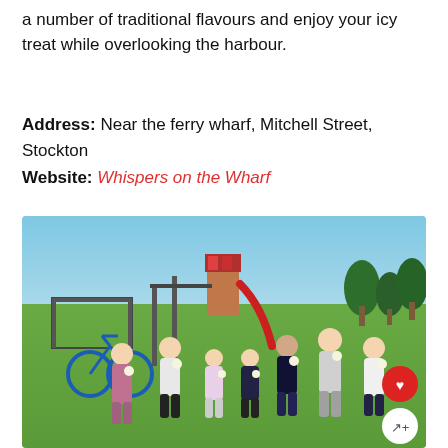a number of traditional flavours and enjoy your icy treat while overlooking the harbour.
Address: Near the ferry wharf, Mitchell Street, Stockton
Website: Whispers on the Wharf
[Figure (photo): A group of seven young children eating ice creams outdoors at a park near a playground with a red slide. Blue sky, green grass, trees in the background. Two circular buttons (heart/favourite and share) overlay the bottom-right corner of the photo.]